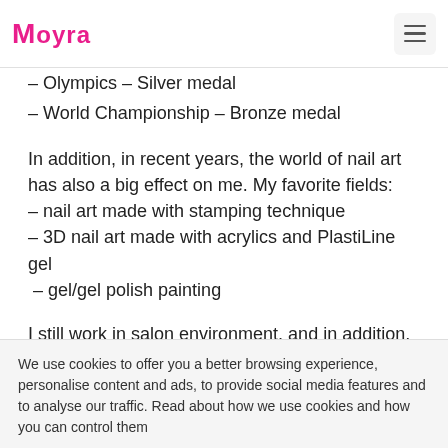Moyra
– Olympics – Silver medal
– World Championship – Bronze medal
In addition, in recent years, the world of nail art has also a big effect on me. My favorite fields:
– nail art made with stamping technique
– 3D nail art made with acrylics and PlastiLine gel
 – gel/gel polish painting
I still work in salon environment, and in addition, I have been training specialists for 10 years both in Hungary and abroad. I keep an eye on international fashion and nail art trends, and therefore I can teach you the most up-to-date and trendy nail art techniques. Since 2019 I have been offering online courses as well, most of which are – from now on – available at nailstamping.com. My course topics are
We use cookies to offer you a better browsing experience, personalise content and ads, to provide social media features and to analyse our traffic. Read about how we use cookies and how you can control them